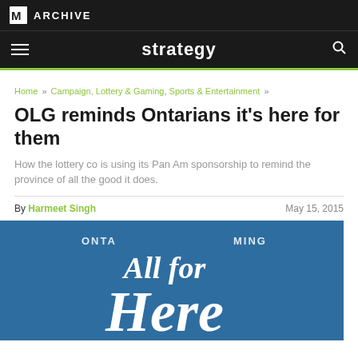M ARCHIVE
strategy
Home » Campaign, Lottery & Gaming, Sports & Entertainment »
OLG reminds Ontarians it's here for them
How the lottery co is using its Pan Am sponsorship to remind the province of all the good it does.
By Harmeet Singh    May 15, 2015
[Figure (photo): Blue background OLG campaign image with white script text reading 'All for' and partial text 'Here', with curved text 'ONTA...' and '...MING' along the top arc.]